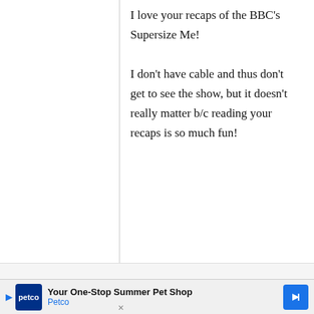I love your recaps of the BBC's Supersize Me!

I don't have cable and thus don't get to see the show, but it doesn't really matter b/c reading your recaps is so much fun!
ChristineV
4
Argh! Forgot
Your One-Stop Summer Pet Shop Petco